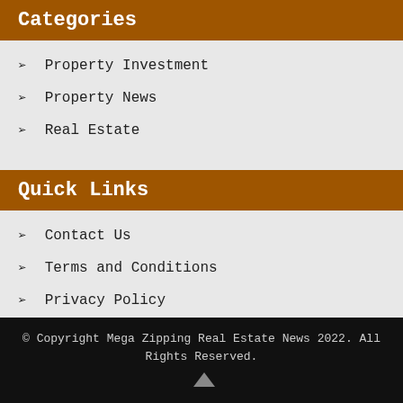Categories
Property Investment
Property News
Real Estate
Quick Links
Contact Us
Terms and Conditions
Privacy Policy
© Copyright Mega Zipping Real Estate News 2022. All Rights Reserved.